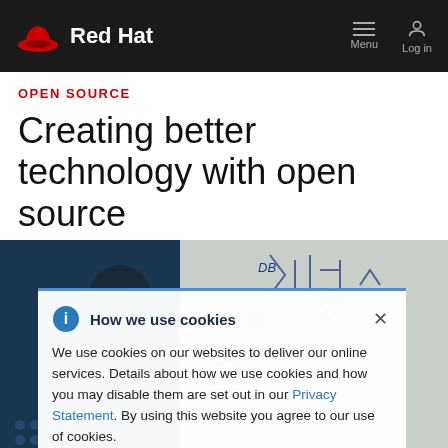Red Hat | Menu | Log in
OPEN SOURCE
Creating better technology with open source
[Figure (photo): A person looking at a whiteboard covered in diagrams and text, with blue background and whiteboard writing visible]
How we use cookies
We use cookies on our websites to deliver our online services. Details about how we use cookies and how you may disable them are set out in our Privacy Statement. By using this website you agree to our use of cookies.